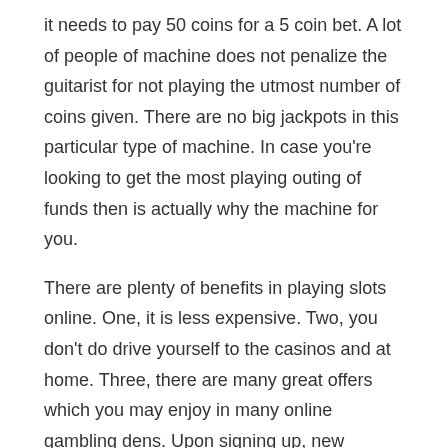it needs to pay 50 coins for a 5 coin bet. A lot of people of machine does not penalize the guitarist for not playing the utmost number of coins given. There are no big jackpots in this particular type of machine. In case you're looking to get the most playing outing of funds then is actually why the machine for you.
There are plenty of benefits in playing slots online. One, it is less expensive. Two, you don't do drive yourself to the casinos and at home. Three, there are many great offers which you may enjoy in many online gambling dens. Upon signing up, new registrations may have the ability to acquire freebies and sometime an initial amount an individual bankroll. Fourth, online slots are very simple to compete. Spinning is just a matter of a mouse click all time. You can select pay lines, adjust your bets, and spend using only your duck.
You have three choices in regards to online slots. Ordinary slot machines allow you to play for jackpots where you can lot of fun.